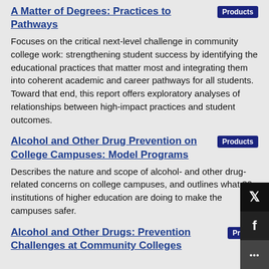A Matter of Degrees: Practices to Pathways
Focuses on the critical next-level challenge in community college work: strengthening student success by identifying the educational practices that matter most and integrating them into coherent academic and career pathways for all students. Toward that end, this report offers exploratory analyses of relationships between high-impact practices and student outcomes.
Alcohol and Other Drug Prevention on College Campuses: Model Programs
Describes the nature and scope of alcohol- and other drug-related concerns on college campuses, and outlines what 30 institutions of higher education are doing to make the campuses safer.
Alcohol and Other Drugs: Prevention Challenges at Community Colleges